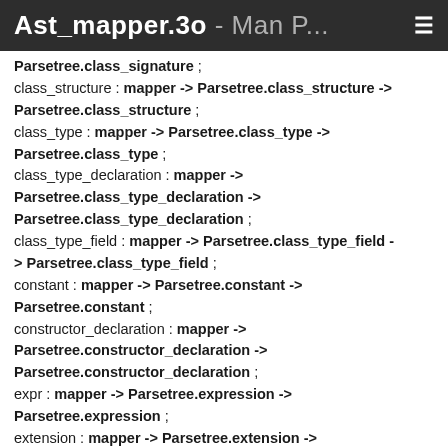Ast_mapper.3o - Man P... ☰
Parsetree.class_signature ;
class_structure : mapper -> Parsetree.class_structure -> Parsetree.class_structure ;
class_type : mapper -> Parsetree.class_type -> Parsetree.class_type ;
class_type_declaration : mapper -> Parsetree.class_type_declaration -> Parsetree.class_type_declaration ;
class_type_field : mapper -> Parsetree.class_type_field -> Parsetree.class_type_field ;
constant : mapper -> Parsetree.constant -> Parsetree.constant ;
constructor_declaration : mapper -> Parsetree.constructor_declaration -> Parsetree.constructor_declaration ;
expr : mapper -> Parsetree.expression -> Parsetree.expression ;
extension : mapper -> Parsetree.extension -> Parsetree.extension ;
extension_constructor : mapper -> Parsetree.extension_constructor -> Parsetree.extension_constructor ;